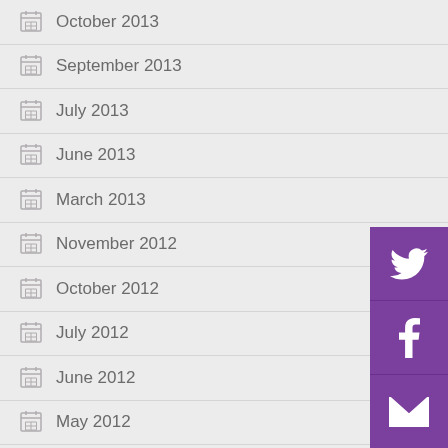October 2013
September 2013
July 2013
June 2013
March 2013
November 2012
October 2012
July 2012
June 2012
May 2012
[Figure (infographic): Social share buttons: Twitter, Facebook, Email/envelope icons on purple background]